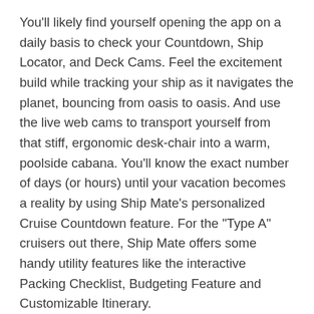You'll likely find yourself opening the app on a daily basis to check your Countdown, Ship Locator, and Deck Cams. Feel the excitement build while tracking your ship as it navigates the planet, bouncing from oasis to oasis. And use the live web cams to transport yourself from that stiff, ergonomic desk-chair into a warm, poolside cabana. You'll know the exact number of days (or hours) until your vacation becomes a reality by using Ship Mate's personalized Cruise Countdown feature. For the "Type A" cruisers out there, Ship Mate offers some handy utility features like the interactive Packing Checklist, Budgeting Feature and Customizable Itinerary.
If the information that you're looking for isn't in the app, you'll likely get help from fellow passengers using Ship Mate's Chat feature. Cruisers are eager to share their knowledge and to meet others in the ship and port-